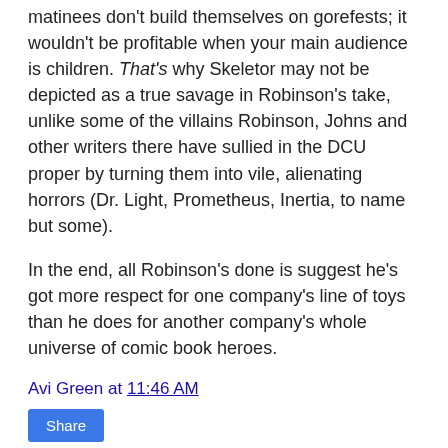matinees don't build themselves on gorefests; it wouldn't be profitable when your main audience is children. That's why Skeletor may not be depicted as a true savage in Robinson's take, unlike some of the villains Robinson, Johns and other writers there have sullied in the DCU proper by turning them into vile, alienating horrors (Dr. Light, Prometheus, Inertia, to name but some).
In the end, all Robinson's done is suggest he's got more respect for one company's line of toys than he does for another company's whole universe of comic book heroes.
Avi Green at 11:46 AM
Share
3 comments:
Anonymous 9:35 PM
To think at one time he was a good writer, and then he descended into hackery with the Cry for Justice story arc